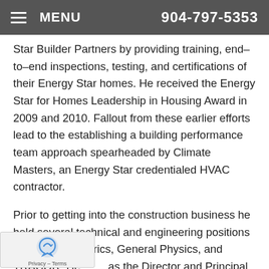MENU  904-797-5353
Star Builder Partners by providing training, end-to-end inspections, testing, and certifications of their Energy Star homes. He received the Energy Star for Homes Leadership in Housing Award in 2009 and 2010. Fallout from these earlier efforts lead to the establishing a building performance team approach spearheaded by Climate Masters, an Energy Star credentialed HVAC contractor.
Prior to getting into the construction business he held several technical and engineering positions with Oceanometrics, General Physics, and TRACOR. He as the Director and Principal Analyst managing a team of 25 specialty engineers and technical staff in